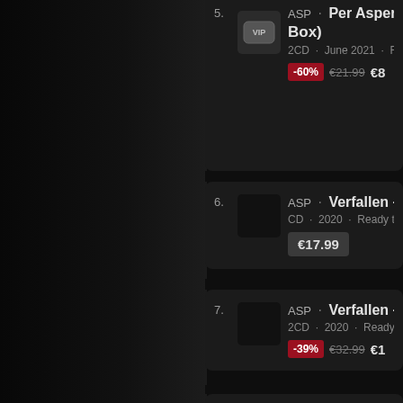5. ASP · Per Aspera Ad Astra (Box) — 2CD · June 2021 · Ready — -60% €21.99 €8
6. ASP · Verfallen — CD · 2020 · Ready to be — €17.99
7. ASP · Verfallen — 2CD · 2020 · Ready to — -39% €32.99 €1
8. ASP · Zutiefst — 2CD · June 2021 · Rea